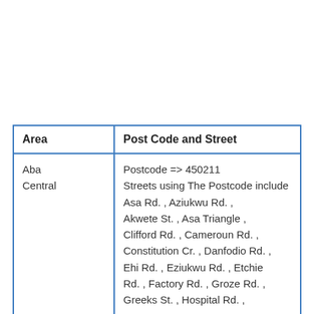| Area | Post Code and Street |
| --- | --- |
| Aba Central | Postcode => 450211
Streets using The Postcode include Asa Rd. , Aziukwu Rd. , Akwete St. , Asa Triangle , Clifford Rd. , Cameroun Rd. , Constitution Cr. , Danfodio Rd. , Ehi Rd. , Eziukwu Rd. , Etchie Rd. , Factory Rd. , Groze Rd. , Greeks St. , Hospital Rd. , |